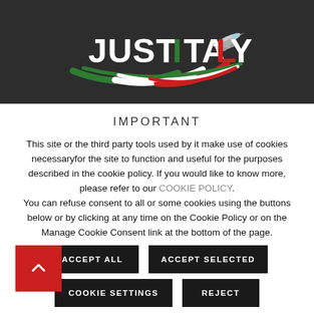[Figure (logo): JustItaly logo with Italian flag swoosh and airplane on dark background]
IMPORTANT
This site or the third party tools used by it make use of cookies necessaryfor the site to function and useful for the purposes described in the cookie policy. If you would like to know more, please refer to our COOKIE POLICY. You can refuse consent to all or some cookies using the buttons below or by clicking at any time on the Cookie Policy or on the Manage Cookie Consent link at the bottom of the page.
ACCEPT ALL | ACCEPT SELECTED | COOKIE SETTINGS | REJECT